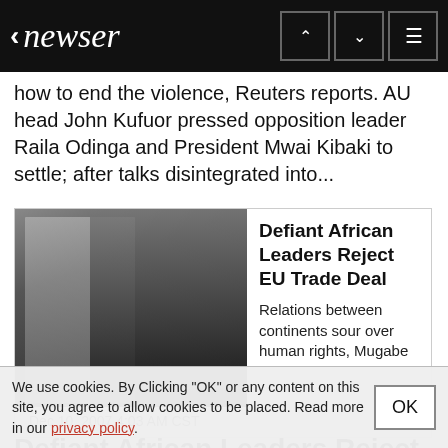newser
how to end the violence, Reuters reports. AU head John Kufuor pressed opposition leader Raila Odinga and President Mwai Kibaki to settle; after talks disintegrated into...
[Figure (photo): Two men in suits, one appears to be Robert Mugabe in the foreground, another man behind him]
Defiant African Leaders Reject EU Trade Deal
Relations between continents sour over human rights, Mugabe
Dec 10, 2007 4:03 AM CST
Defiant African Leaders Reject EU Trade Deal
Relations between continents sour over...
We use cookies. By Clicking "OK" or any content on this site, you agree to allow cookies to be placed. Read more in our privacy policy.